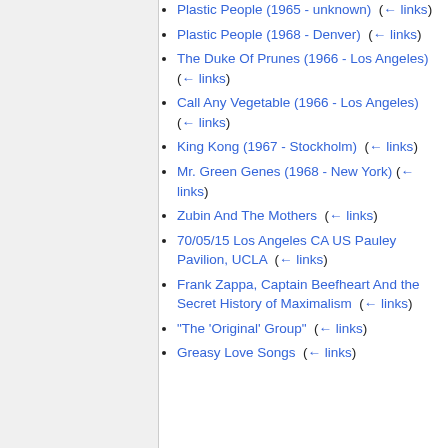Plastic People (1965 - unknown)  (← links)
Plastic People (1968 - Denver)  (← links)
The Duke Of Prunes (1966 - Los Angeles)  (← links)
Call Any Vegetable (1966 - Los Angeles)  (← links)
King Kong (1967 - Stockholm)  (← links)
Mr. Green Genes (1968 - New York)  (← links)
Zubin And The Mothers  (← links)
70/05/15 Los Angeles CA US Pauley Pavilion, UCLA  (← links)
Frank Zappa, Captain Beefheart And the Secret History of Maximalism  (← links)
"The 'Original' Group"  (← links)
Greasy Love Songs  (← links)